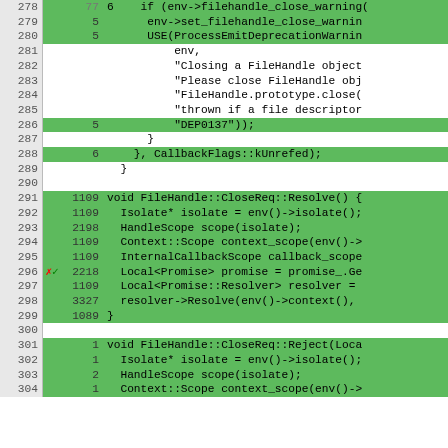[Figure (screenshot): Code coverage viewer showing C++ source code lines 278-304 with line numbers, hit counts, coverage highlighting (green=covered, white/gray=not covered), and a red X / green check marker on line 296. Code includes FileHandle close warning and CloseReq::Resolve/Reject functions.]